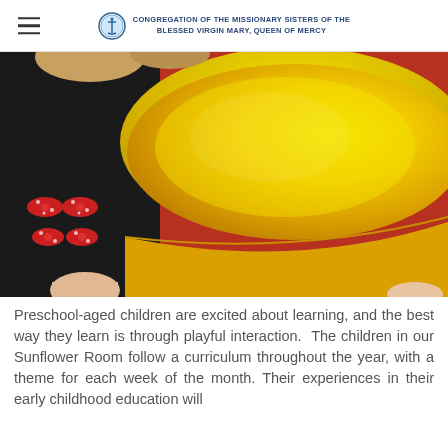CONGREGATION OF THE MISSIONARY SISTERS OF THE BLESSED VIRGIN MARY, QUEEN OF MERCY
[Figure (photo): Close-up photo of preschool children's hands interacting with a large yellow plastic bowl on a red surface. A child wearing black clothing with red polka-dot bow details is visible on the left side.]
Preschool-aged children are excited about learning, and the best way they learn is through playful interaction. The children in our Sunflower Room follow a curriculum throughout the year, with a theme for each week of the month. Their experiences in their early childhood education will